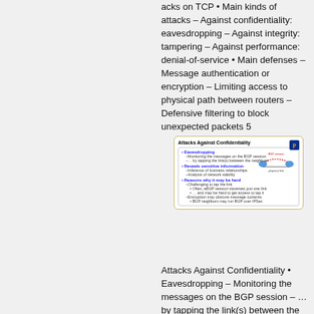acks on TCP • Main kinds of attacks – Against confidentiality: eavesdropping – Against integrity: tampering – Against performance: denial-of-service • Main defenses – Message authentication or encryption – Limiting access to physical path between routers – Defensive filtering to block unexpected packets 5
[Figure (screenshot): Slide titled 'Attacks Against Confidentiality' showing bullet points about Eavesdropping (monitoring BGP session messages, tapping links), Reveals sensitive information (business relationships, network stability), and Reasons why it may be hard (challenging to tap the link, encryption). Includes a network diagram showing BGP session over physical link.]
Attacks Against Confidentiality • Eavesdropping – Monitoring the messages on the BGP session – … by tapping the link(s) between the neighbors • Reveals